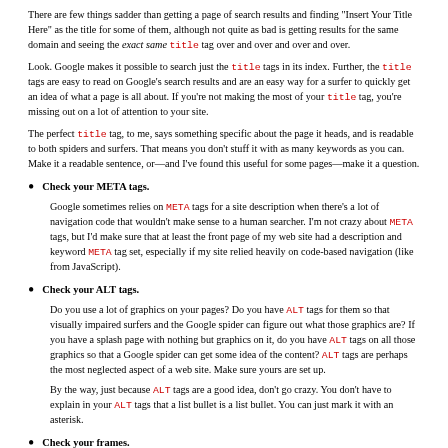There are few things sadder than getting a page of search results and finding "Insert Your Title Here" as the title for some of them, although not quite as bad is getting results for the same domain and seeing the exact same title tag over and over and over and over.
Look. Google makes it possible to search just the title tags in its index. Further, the title tags are easy to read on Google's search results and are an easy way for a surfer to quickly get an idea of what a page is all about. If you're not making the most of your title tag, you're missing out on a lot of attention to your site.
The perfect title tag, to me, says something specific about the page it heads, and is readable to both spiders and surfers. That means you don't stuff it with as many keywords as you can. Make it a readable sentence, or—and I've found this useful for some pages—make it a question.
Check your META tags.
Google sometimes relies on META tags for a site description when there's a lot of navigation code that wouldn't make sense to a human searcher. I'm not crazy about META tags, but I'd make sure that at least the front page of my web site had a description and keyword META tag set, especially if my site relied heavily on code-based navigation (like from JavaScript).
Check your ALT tags.
Do you use a lot of graphics on your pages? Do you have ALT tags for them so that visually impaired surfers and the Google spider can figure out what those graphics are? If you have a splash page with nothing but graphics on it, do you have ALT tags on all those graphics so that a Google spider can get some idea of the content? ALT tags are perhaps the most neglected aspect of a web site. Make sure yours are set up.
By the way, just because ALT tags are a good idea, don't go crazy. You don't have to explain in your ALT tags that a list bullet is a list bullet. You can just mark it with an asterisk.
Check your frames.
If you use frames, you might be missing out on some indexing. Google recommends you that read Danny Sullivan's article, "Search Engines and Frames," at